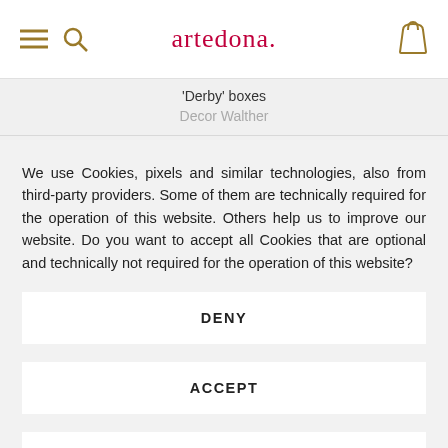artedona.
'Derby' boxes
Decor Walther
We use Cookies, pixels and similar technologies, also from third-party providers. Some of them are technically required for the operation of this website. Others help us to improve our website. Do you want to accept all Cookies that are optional and technically not required for the operation of this website?
DENY
ACCEPT
INDIVIDUAL SELECTION